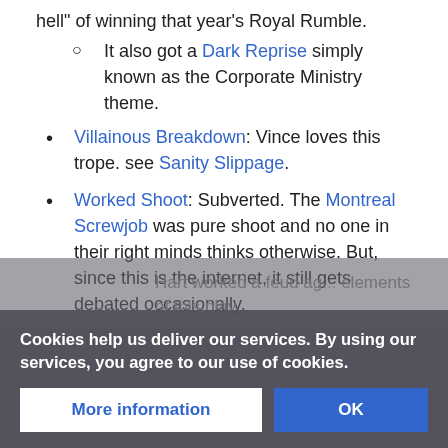hell" of winning that year's Royal Rumble.
It also got a Dark Reprise simply known as the Corporate Ministry theme.
Villainous Breakdown: Vince loves this trope. see Sanity Slippage.
Worked Shoot: Subverted. The Montreal Screwjob was pure shoot and no one in their right minds thinks otherwise. But, since this is the internet, it still gets debated occasionally.
Vince McMahon: Bret Hart screwed Bret Hart.
Bret Hart worked a feud against ... elements of this play...
Cookies help us deliver our services. By using our services, you agree to our use of cookies.